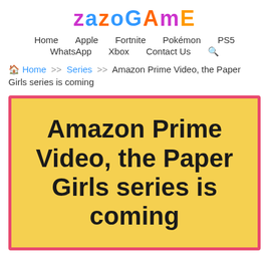ZAZOGAME
Home   Apple   Fortnite   Pokémon   PS5   WhatsApp   Xbox   Contact Us
Home >> Series >> Amazon Prime Video, the Paper Girls series is coming
[Figure (other): Yellow featured image box with bold black text reading: Amazon Prime Video, the Paper Girls series is coming. Pink/red border around the box.]